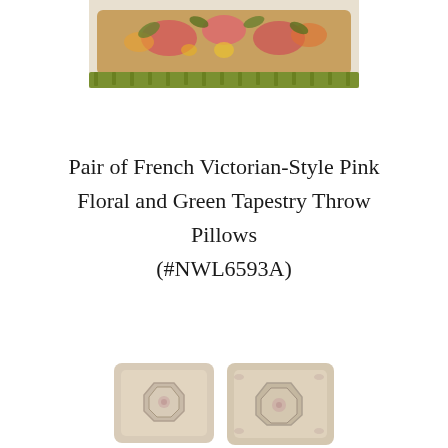[Figure (photo): Top portion of a French Victorian-style pink floral and green tapestry throw pillow with tasseled fringe, cropped at the top of the page.]
Pair of French Victorian-Style Pink Floral and Green Tapestry Throw Pillows (#NWL6593A)
[Figure (photo): Two cream/beige floral embroidered throw pillows with octagonal medallion detail, partially visible at the bottom of the page.]